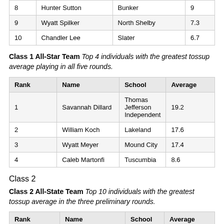| Rank | Name | School | Average |
| --- | --- | --- | --- |
| 8 | Hunter Sutton | Bunker | 9 |
| 9 | Wyatt Spilker | North Shelby | 7.3 |
| 10 | Chandler Lee | Slater | 6.7 |
Class 1 All-Star Team Top 4 individuals with the greatest tossup average playing in all five rounds.
| Rank | Name | School | Average |
| --- | --- | --- | --- |
| 1 | Savannah Dillard | Thomas Jefferson Independent | 19.2 |
| 2 | William Koch | Lakeland | 17.6 |
| 3 | Wyatt Meyer | Mound City | 17.4 |
| 4 | Caleb Martonfi | Tuscumbia | 8.6 |
Class 2
Class 2 All-State Team Top 10 individuals with the greatest tossup average in the three preliminary rounds.
| Rank | Name | School | Average |
| --- | --- | --- | --- |